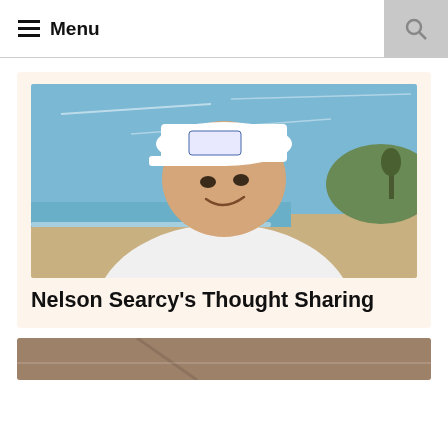≡ Menu
[Figure (photo): Young man wearing a white cap and white hoodie, taking a selfie on a beach with blue sky and ocean in background]
Nelson Searcy's Thought Sharing
[Figure (photo): Partial view of a second article card image, tan/brown tones, partially visible at bottom of page]